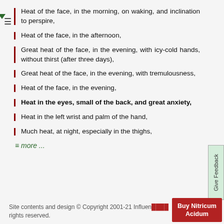Heat of the face, in the morning, on waking, and inclination to perspire,
Heat of the face, in the afternoon,
Great heat of the face, in the evening, with icy-cold hands, without thirst (after three days),
Great heat of the face, in the evening, with tremulousness,
Heat of the face, in the evening,
Heat in the eyes, small of the back, and great anxiety,
Heat in the left wrist and palm of the hand,
Much heat, at night, especially in the thighs,
≡ more ...
Site contents and design © Copyright 2001-21 Influen[tial] rights reserved.